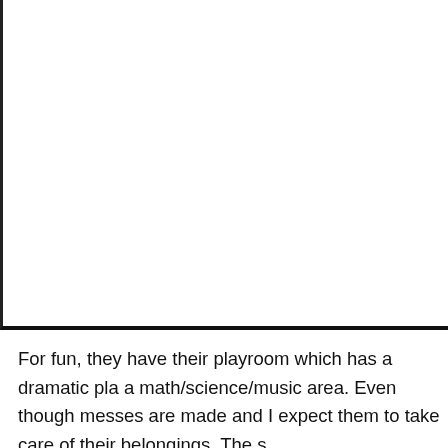For fun, they have their playroom which has a dramatic pla a math/science/music area. Even though messes are made and I expect them to take care of their belongings. The s